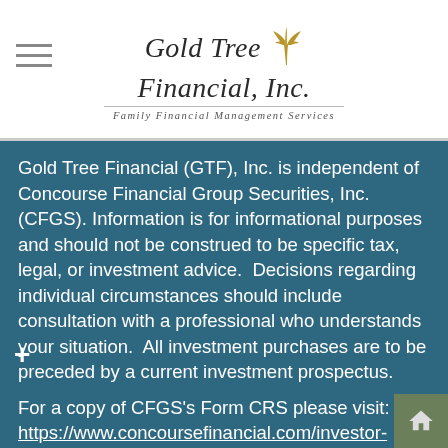[Figure (logo): Gold Tree Financial, Inc. logo with palm tree icon and tagline 'Family Financial Management Services']
Gold Tree Financial (GTF), Inc. is independent of Concourse Financial Group Securities, Inc. (CFGS). Information is for informational purposes and should not be construed to be specific tax, legal, or investment advice.  Decisions regarding individual circumstances should include consultation with a professional who understands your situation.  All investment purchases are to be preceded by a current investment prospectus.
For a copy of CFGS's Form CRS please visit: https://www.concoursefinancial.com/investor-disclosures